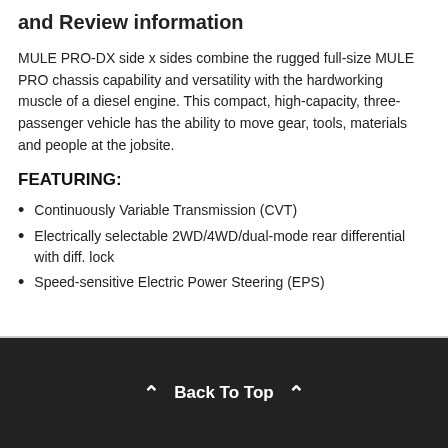and Review information
MULE PRO-DX side x sides combine the rugged full-size MULE PRO chassis capability and versatility with the hardworking muscle of a diesel engine. This compact, high-capacity, three-passenger vehicle has the ability to move gear, tools, materials and people at the jobsite.
FEATURING:
Continuously Variable Transmission (CVT)
Electrically selectable 2WD/4WD/dual-mode rear differential with diff. lock
Speed-sensitive Electric Power Steering (EPS)
Back To Top